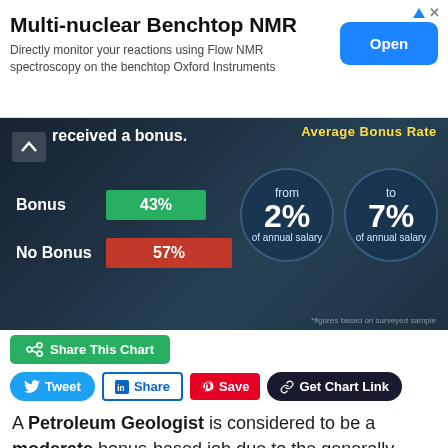[Figure (other): Advertisement banner for Multi-nuclear Benchtop NMR with Oxford Instruments. Shows title, description text, and blue Open button.]
[Figure (infographic): Infographic showing bonus statistics for Petroleum Geologist. Shows Bonus 43% (green bar), No Bonus 57% (red bar), and Average Bonus Rate from 2% to 7% of annual salary in circular graphics.]
[Figure (other): Social sharing buttons: Share This Chart (green), Tweet (blue), Share (LinkedIn), Save (Pinterest red), Get Chart Link (dark).]
A Petroleum Geologist is considered to be a moderate bonus-based job due to the generally limited involvement in direct revenue generation, with exceptions of course. The people who get the highest